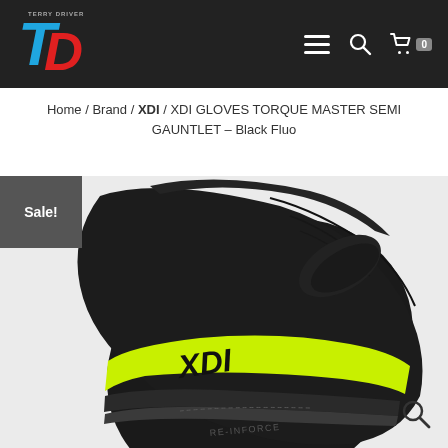[Figure (logo): Terry Driver TD logo with blue and red stylized letters on dark background]
Home / Brand / XDI / XDI GLOVES TORQUE MASTER SEMI GAUNTLET – Black Fluo
[Figure (photo): Black leather XDI motorcycle glove (Torque Master Semi Gauntlet) with fluorescent yellow/green XDI logo band on wrist, RE-INFORCE text visible on palm area]